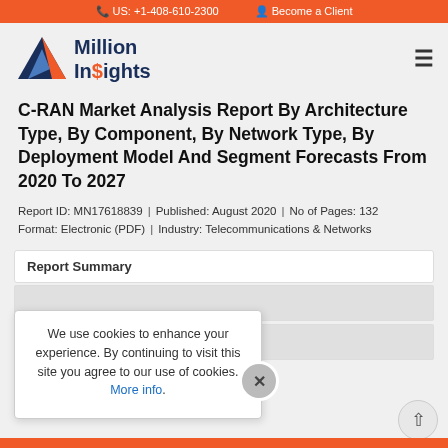US: +1-408-610-2300  |  Become a Client
[Figure (logo): Million Insights logo with triangular blue/orange icon and text 'Million Insights']
C-RAN Market Analysis Report By Architecture Type, By Component, By Network Type, By Deployment Model And Segment Forecasts From 2020 To 2027
Report ID: MN17618839 | Published: August 2020 | No of Pages: 132
Format: Electronic (PDF) | Industry: Telecommunications & Networks
Report Summary
We use cookies to enhance your experience. By continuing to visit this site you agree to our use of cookies. More info.